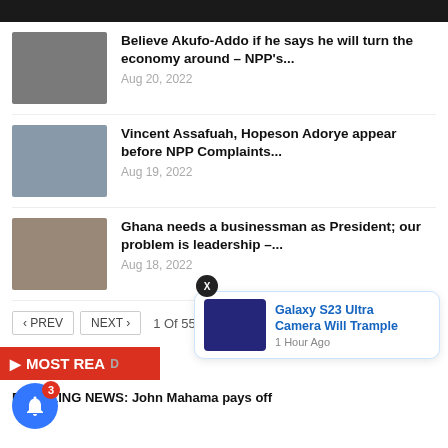[Figure (photo): Dark top banner/header bar]
Believe Akufo-Addo if he says he will turn the economy around – NPP's… | Aug 20, 2022
Vincent Assafuah, Hopeson Adorye appear before NPP Complaints… | Aug 19, 2022
Ghana needs a businessman as President; our problem is leadership –… | Aug 18, 2022
< PREV   NEXT >   1 Of 55
MOST READ
[Figure (photo): Galaxy S23 Ultra notification popup with phone image]
Galaxy S23 Ultra Camera Will Trample
1 Hour Ago
BREAKING NEWS: John Mahama pays off